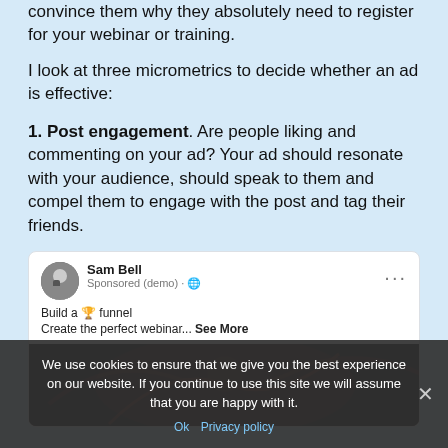convince them why they absolutely need to register for your webinar or training.
I look at three micrometrics to decide whether an ad is effective:
1. Post engagement. Are people liking and commenting on your ad? Your ad should resonate with your audience, should speak to them and compel them to engage with the post and tag their friends.
[Figure (screenshot): Facebook ad screenshot showing Sam Bell Sponsored (demo) post with text 'Build a funnel' and 'Create the perfect webinar... See More', with a dark image below]
We use cookies to ensure that we give you the best experience on our website. If you continue to use this site we will assume that you are happy with it.
Ok  Privacy policy